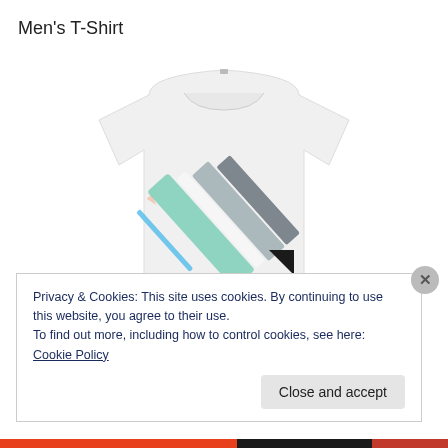Men's T-Shirt
[Figure (photo): White men's t-shirt with diagonal stripe graphic design featuring blue, mint green, grey, and white stripes, and a small black triangle.]
Privacy & Cookies: This site uses cookies. By continuing to use this website, you agree to their use.
To find out more, including how to control cookies, see here: Cookie Policy
Close and accept